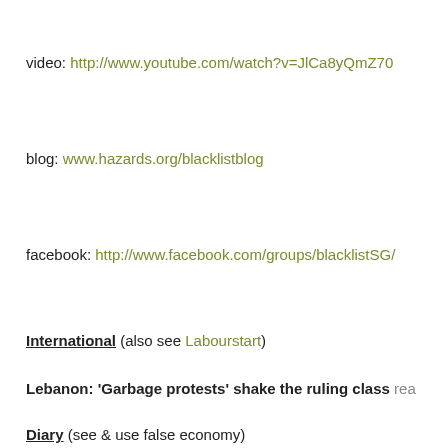video: http://www.youtube.com/watch?v=JlCa8yQmZ70
blog: www.hazards.org/blacklistblog
facebook: http://www.facebook.com/groups/blacklistSG/
International (also see Labourstart)
Lebanon: 'Garbage protests' shake the ruling class rea…
Diary (see & use false economy)
August